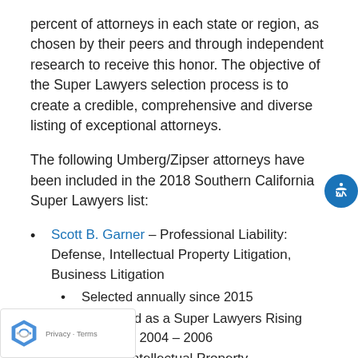percent of attorneys in each state or region, as chosen by their peers and through independent research to receive this honor. The objective of the Super Lawyers selection process is to create a credible, comprehensive and diverse listing of exceptional attorneys.
The following Umberg/Zipser attorneys have been included in the 2018 Southern California Super Lawyers list:
Scott B. Garner – Professional Liability: Defense, Intellectual Property Litigation, Business Litigation
Selected annually since 2015
Also listed as a Super Lawyers Rising Star from 2004 – 2006
Mei Tsang – Intellectual Property,